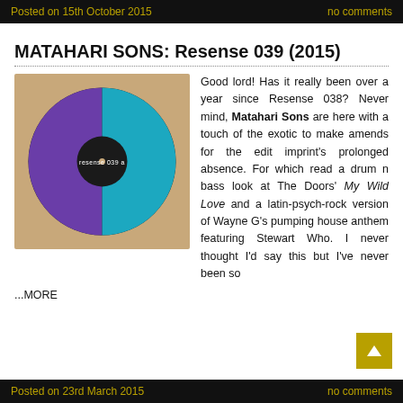Posted on 15th October 2015    no comments
MATAHARI SONS: Resense 039 (2015)
[Figure (illustration): Album cover for Resense 039a showing a vinyl record with a black disc, purple left half and teal/cyan right half circle design on a kraft brown cardboard sleeve background. White text reads 'resense 039 a' in the center.]
Good lord! Has it really been over a year since Resense 038? Never mind, Matahari Sons are here with a touch of the exotic to make amends for the edit imprint's prolonged absence. For which read a drum n bass look at The Doors' My Wild Love and a latin-psych-rock version of Wayne G's pumping house anthem featuring Stewart Who. I never thought I'd say this but I've never been so
...MORE
Posted on 23rd March 2015    no comments